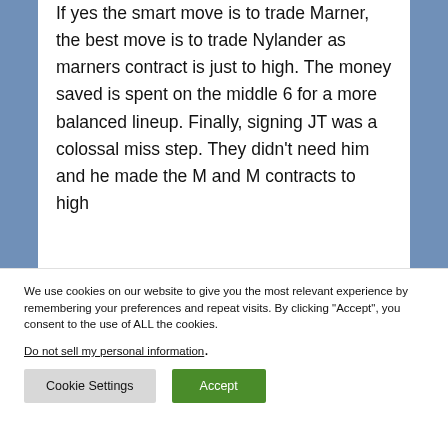If yes the smart move is to trade Marner, the best move is to trade Nylander as marners contract is just to high. The money saved is spent on the middle 6 for a more balanced lineup. Finally, signing JT was a colossal miss step. They didn't need him and he made the M and M contracts to high
We use cookies on our website to give you the most relevant experience by remembering your preferences and repeat visits. By clicking "Accept", you consent to the use of ALL the cookies.
Do not sell my personal information.